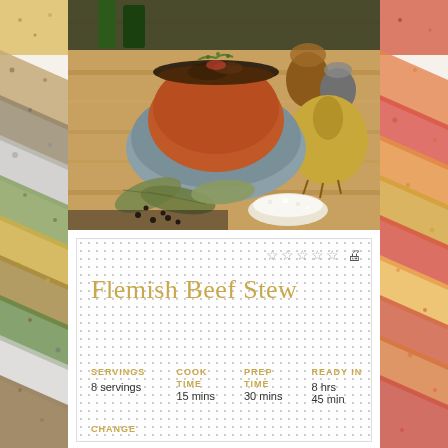[Figure (photo): Food photo of Flemish Beef Stew in a rustic blue/grey ceramic bowl set inside an orange-rimmed pan on a wooden board, surrounded by bay leaves, salt, pepper, and a whole onion. Spice border strips on left and right of the page.]
Flemish Beef Stew
| SERVINGS | COOK TIME | PREP TIME | READY IN |
| --- | --- | --- | --- |
| 8 servings | 15 mins | 30 mins | 8 hrs |
|  |  |  | 45 min |
CHANGE